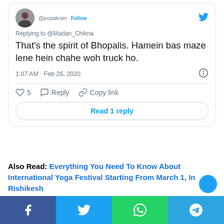[Figure (screenshot): Tweet from @joopakrain replying to @Madan_Chikna with text: That's the spirit of Bhopalis. Hamein bas maze lene hein chahe woh truck ho. Posted at 1:07 AM · Feb 26, 2020. Shows 5 likes, Reply, Copy link actions and Read 1 reply button.]
Also Read: Everything You Need To Know About International Yoga Festival Starting From March 1, In Rishikesh
[Figure (infographic): Social media share bar with Facebook, Twitter, WhatsApp and Telegram buttons at the bottom of the page.]